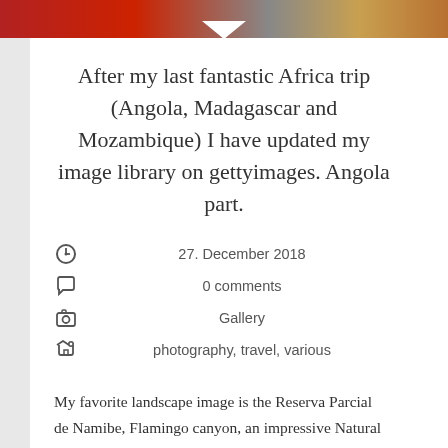[Figure (photo): Colorful banner image at top with red, grey and gold tones, with a white chevron pointing downward at center bottom]
After my last fantastic Africa trip (Angola, Madagascar and Mozambique) I have updated my image library on gettyimages. Angola part.
27. December 2018
0 comments
Gallery
photography, travel, various
My favorite landscape image is the Reserva Parcial de Namibe, Flamingo canyon, an impressive Natural Canyon in the Namibe Desert of Angola, Namibe. The Reserva Parcial de Namibe is north of Plateau dos Cubais and Fazenda do Alexandre and west of